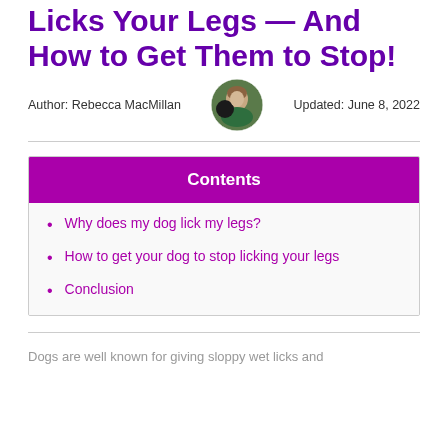Licks Your Legs — And How to Get Them to Stop!
Author: Rebecca MacMillan   Updated: June 8, 2022
[Figure (photo): Circular avatar photo of Rebecca MacMillan, a woman outdoors with a dark dog]
Contents
Why does my dog lick my legs?
How to get your dog to stop licking your legs
Conclusion
Dogs are well known for giving sloppy wet licks and